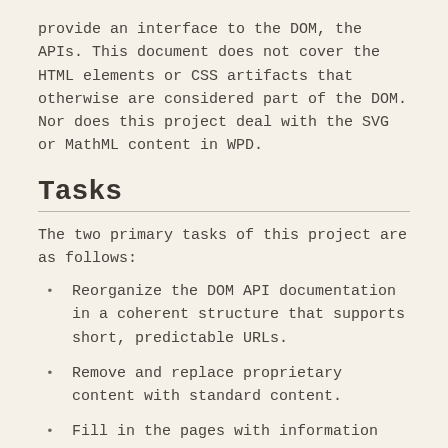provide an interface to the DOM, the APIs. This document does not cover the HTML elements or CSS artifacts that otherwise are considered part of the DOM. Nor does this project deal with the SVG or MathML content in WPD.
Tasks
The two primary tasks of this project are as follows:
Reorganize the DOM API documentation in a coherent structure that supports short, predictable URLs.
Remove and replace proprietary content with standard content.
Fill in the pages with information currently missing.
Reorganization
First, we have to reorganize our current content.